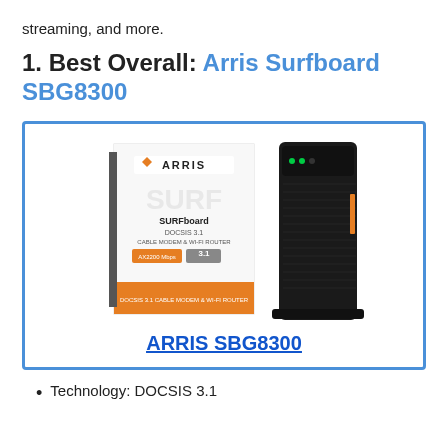streaming, and more.
1. Best Overall: Arris Surfboard SBG8300
[Figure (photo): Product photo of ARRIS Surfboard SBG8300 cable modem/Wi-Fi router box and device side by side. The box is white/orange with ARRIS branding and SURFboard DOCSIS 3.1 labels. The device is a tall black tower unit.]
ARRIS SBG8300
Technology: DOCSIS 3.1